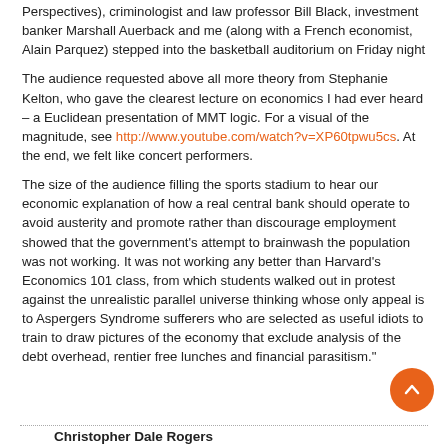Perspectives), criminologist and law professor Bill Black, investment banker Marshall Auerback and me (along with a French economist, Alain Parquez) stepped into the basketball auditorium on Friday night
The audience requested above all more theory from Stephanie Kelton, who gave the clearest lecture on economics I had ever heard – a Euclidean presentation of MMT logic. For a visual of the magnitude, see http://www.youtube.com/watch?v=XP60tpwu5cs. At the end, we felt like concert performers.
The size of the audience filling the sports stadium to hear our economic explanation of how a real central bank should operate to avoid austerity and promote rather than discourage employment showed that the government's attempt to brainwash the population was not working. It was not working any better than Harvard's Economics 101 class, from which students walked out in protest against the unrealistic parallel universe thinking whose only appeal is to Aspergers Syndrome sufferers who are selected as useful idiots to train to draw pictures of the economy that exclude analysis of the debt overhead, rentier free lunches and financial parasitism."
Christopher Dale Rogers